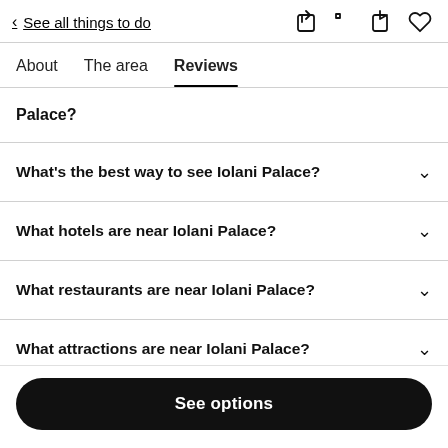< See all things to do
About  The area  Reviews
Palace?
What's the best way to see Iolani Palace?
What hotels are near Iolani Palace?
What restaurants are near Iolani Palace?
What attractions are near Iolani Palace?
See options